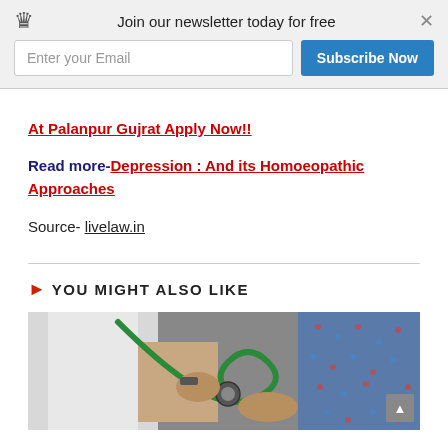[Figure (screenshot): Newsletter subscription popup with crown icon, 'Join our newsletter today for free' text, email input field, Subscribe Now button, and close X button]
At Palanpur Gujrat Apply Now!!
Read more- Depression : And its Homoeopathic Approaches
Source- livelaw.in
YOU MIGHT ALSO LIKE
[Figure (photo): Photo of a doctor holding a green stethoscope against a patient, close-up of hands]